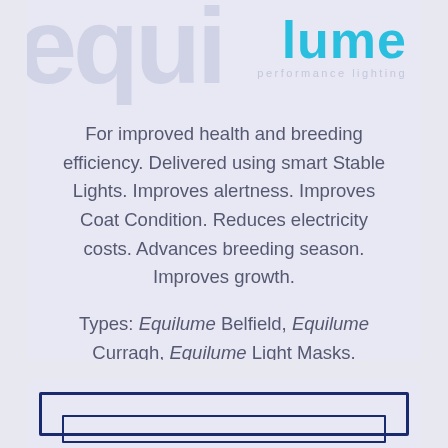[Figure (logo): Equilume performance lighting logo with large cyan 'lume' text and faded 'equi' background watermark, with 'performance lighting' subtitle]
For improved health and breeding efficiency. Delivered using smart Stable Lights. Improves alertness. Improves Coat Condition. Reduces electricity costs. Advances breeding season. Improves growth.
Types: Equilume Belfield, Equilume Curragh, Equilume Light Masks.
[Figure (other): Partial bottom card with dark navy blue double-border rectangle frame visible at bottom of page]